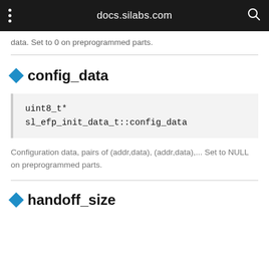docs.silabs.com
data. Set to 0 on preprogrammed parts.
config_data
uint8_t*
sl_efp_init_data_t::config_data
Configuration data, pairs of (addr,data), (addr,data),... Set to NULL on preprogrammed parts.
handoff_size